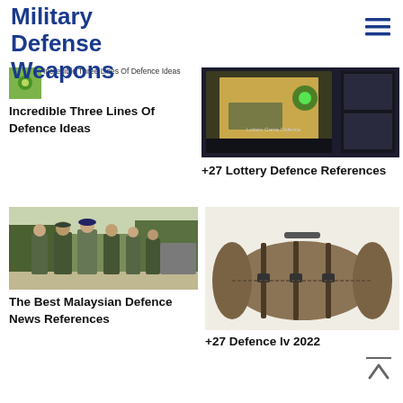Military Defense Weapons
[Figure (illustration): Small thumbnail image with green icon for Incredible Three Lines Of Defence Ideas article]
Incredible Three Lines Of Defence Ideas
Incredible Three Lines Of Defence Ideas
[Figure (screenshot): Screenshot of a top-down military strategy video game with units on a map]
+27 Lottery Defence References
[Figure (photo): Photo of Malaysian military officers in camouflage uniforms walking together]
The Best Malaysian Defence News References
[Figure (photo): Photo of a military olive/tan sleeping bag roll with straps]
+27 Defence lv 2022